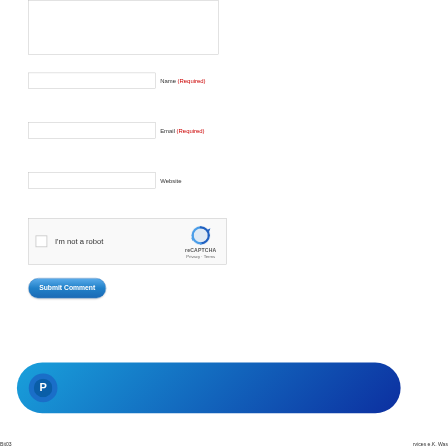[Figure (screenshot): Partially visible textarea input box at top of page]
Name (Required)
Email (Required)
Website
[Figure (other): reCAPTCHA widget with checkbox labeled I'm not a robot and reCAPTCHA logo with Privacy and Terms links]
Submit Comment
[Figure (other): PayPal button bar with PayPal logo icon on blue gradient rounded rectangle]
Bit03 ... rvices e.K. Was